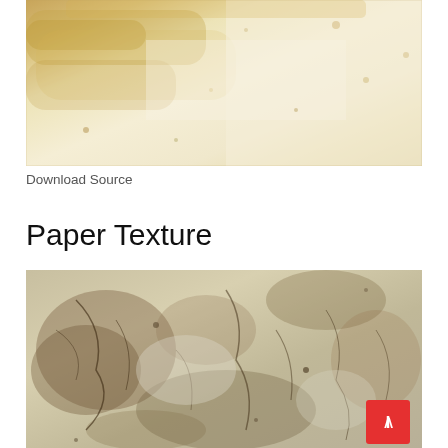[Figure (photo): Old aged paper texture with yellowish-brown stains and worn surface, cream and tan tones]
Download Source
Paper Texture
[Figure (photo): Close-up of crumpled aged paper texture with dark brown stains, cracks, and mottled surface]